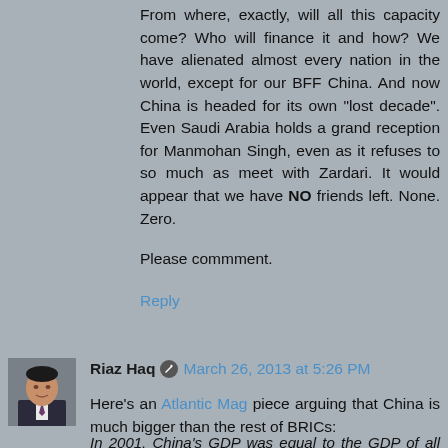From where, exactly, will all this capacity come? Who will finance it and how? We have alienated almost every nation in the world, except for our BFF China. And now China is headed for its own "lost decade". Even Saudi Arabia holds a grand reception for Manmohan Singh, even as it refuses to so much as meet with Zardari. It would appear that we have NO friends left. None. Zero.
Please commment.
Reply
Riaz Haq   March 26, 2013 at 5:26 PM
Here's an Atlantic Mag piece arguing that China is much bigger than the rest of BRICs:
In 2001, China's GDP was equal to the GDP of all the RIBS combined. In the five years since the global financial crisis, just the increment of growth in China's economy is larger than the entire economies of Russia and India combined. Indeed, in the half decade since the financial crisis, 40